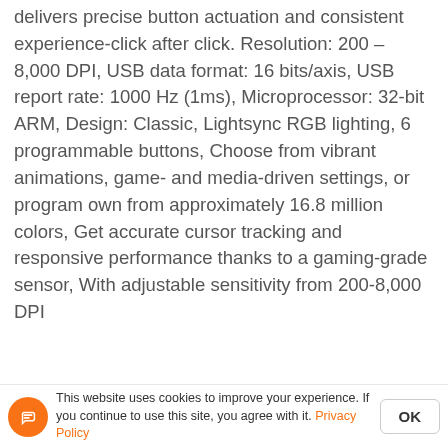delivers precise button actuation and consistent experience-click after click. Resolution: 200 – 8,000 DPI, USB data format: 16 bits/axis, USB report rate: 1000 Hz (1ms), Microprocessor: 32-bit ARM, Design: Classic, Lightsync RGB lighting, 6 programmable buttons, Choose from vibrant animations, game- and media-driven settings, or program own from approximately 16.8 million colors, Get accurate cursor tracking and responsive performance thanks to a gaming-grade sensor, With adjustable sensitivity from 200-8,000 DPI
You may also like
This website uses cookies to improve your experience. If you continue to use this site, you agree with it. Privacy Policy